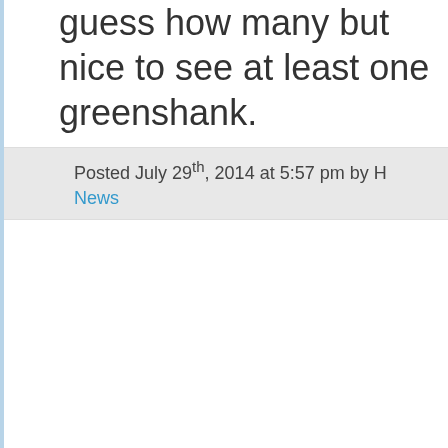guess how many but nice to see at least one greenshank.
Posted July 29th, 2014 at 5:57 pm by H
News